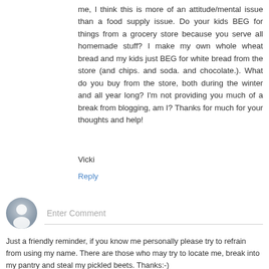me, I think this is more of an attitude/mental issue than a food supply issue. Do your kids BEG for things from a grocery store because you serve all homemade stuff? I make my own whole wheat bread and my kids just BEG for white bread from the store (and chips. and soda. and chocolate.). What do you buy from the store, both during the winter and all year long? I'm not providing you much of a break from blogging, am I? Thanks for much for your thoughts and help!
Vicki
Reply
[Figure (illustration): User avatar icon - grey silhouette of a person in a circle]
Enter Comment
Just a friendly reminder, if you know me personally please try to refrain from using my name. There are those who may try to locate me, break into my pantry and steal my pickled beets. Thanks:-)